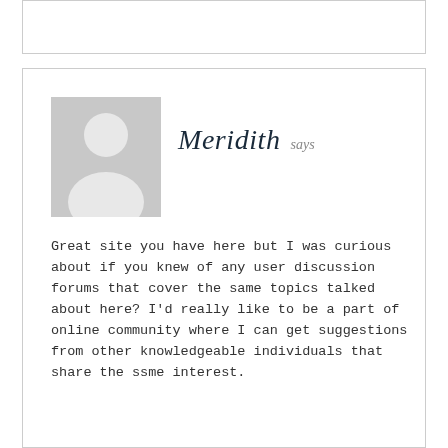[Figure (illustration): Generic grey avatar placeholder image showing a silhouette of a person (head and shoulders) on a grey background]
Meridith says
Great site you have here but I was curious about if you knew of any user discussion forums that cover the same topics talked about here? I'd really like to be a part of online community where I can get suggestions from other knowledgeable individuals that share the ssme interest.